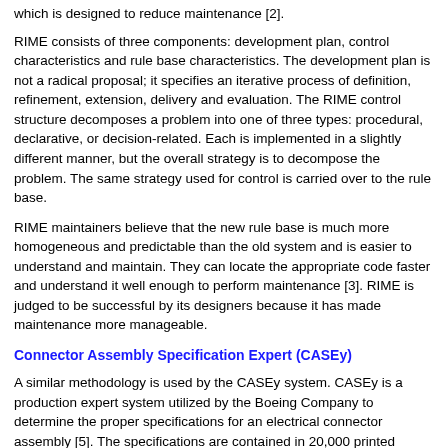which is designed to reduce maintenance [2].
RIME consists of three components: development plan, control characteristics and rule base characteristics. The development plan is not a radical proposal; it specifies an iterative process of definition, refinement, extension, delivery and evaluation. The RIME control structure decomposes a problem into one of three types: procedural, declarative, or decision-related. Each is implemented in a slightly different manner, but the overall strategy is to decompose the problem. The same strategy used for control is carried over to the rule base.
RIME maintainers believe that the new rule base is much more homogeneous and predictable than the old system and is easier to understand and maintain. They can locate the appropriate code faster and understand it well enough to perform maintenance [3]. RIME is judged to be successful by its designers because it has made maintenance more manageable.
Connector Assembly Specification Expert (CASEy)
A similar methodology is used by the CASEy system. CASEy is a production expert system utilized by the Boeing Company to determine the proper specifications for an electrical connector assembly [5]. The specifications are contained in 20,000 printed pages, and the search is complicated by the need to examine many